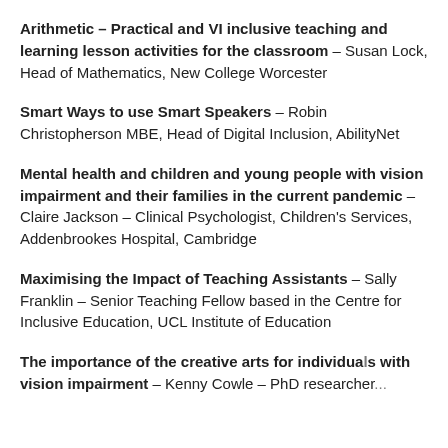Arithmetic – Practical and VI inclusive teaching and learning lesson activities for the classroom – Susan Lock, Head of Mathematics, New College Worcester
Smart Ways to use Smart Speakers – Robin Christopherson MBE, Head of Digital Inclusion, AbilityNet
Mental health and children and young people with vision impairment and their families in the current pandemic – Claire Jackson – Clinical Psychologist, Children's Services, Addenbrookes Hospital, Cambridge
Maximising the Impact of Teaching Assistants – Sally Franklin – Senior Teaching Fellow based in the Centre for Inclusive Education, UCL Institute of Education
The importance of the creative arts for individuals with vision impairment – Kenny Cowle – PhD researcher...